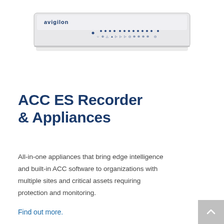[Figure (photo): Avigilon ACC ES Recorder appliance — a white rectangular hardware device with the Avigilon logo and a row of indicator LEDs/ports on the front panel.]
ACC ES Recorder & Appliances
All-in-one appliances that bring edge intelligence and built-in ACC software to organizations with multiple sites and critical assets requiring protection and monitoring.
Find out more.